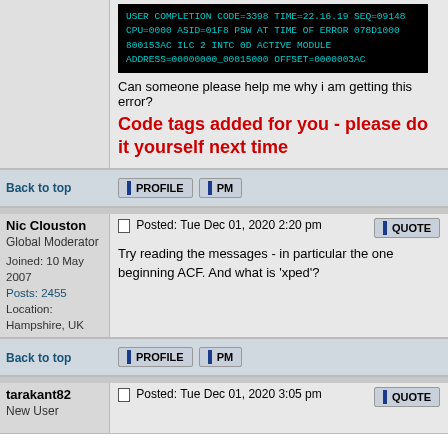[Figure (screenshot): Terminal/console code block showing: USER COMPLETION CODE=3398, TIME=22.16.19 SEQ=09148 CPU=0000, ASID=01F8, PSW AT TIME OF ERROR 078D1000 800153AC, ILC 2 INTC 0D, ACTIVE MODULE, ADDRESS=00000000_00015000 OFFSET=0000003AC]
Can someone please help me why i am getting this error?
Code tags added for you - please do it yourself next time
Back to top
Nic Clouston
Global Moderator
Joined: 10 May 2007
Posts: 2455
Location: Hampshire, UK
Posted: Tue Dec 01, 2020 2:20 pm
Try reading the messages - in particular the one beginning ACF. And what is 'xped'?
Back to top
tarakant82
New User
Posted: Tue Dec 01, 2020 3:05 pm